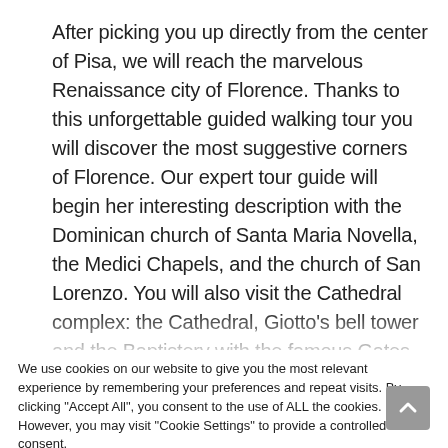After picking you up directly from the center of Pisa, we will reach the marvelous Renaissance city of Florence. Thanks to this unforgettable guided walking tour you will discover the most suggestive corners of Florence. Our expert tour guide will begin her interesting description with the Dominican church of Santa Maria Novella, the Medici Chapels, and the church of San Lorenzo. You will also visit the Cathedral complex: the Cathedral, Giotto's bell tower and the Baptistery with the famous Gates of Paradise. The next stop will be the Piazza della Signoria
We use cookies on our website to give you the most relevant experience by remembering your preferences and repeat visits. By clicking "Accept All", you consent to the use of ALL the cookies. However, you may visit "Cookie Settings" to provide a controlled consent.